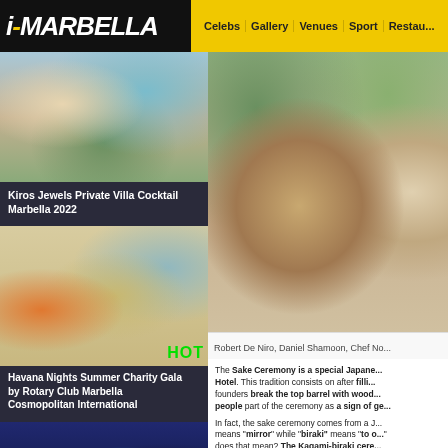i-MARBELLA | Celebs | Gallery | Venues | Sport | Restau...
[Figure (photo): Group photo at Kiros Jewels Private Villa Cocktail Marbella 2022]
Kiros Jewels Private Villa Cocktail Marbella 2022
[Figure (photo): Havana Nights Summer Charity Gala poster by Rotary Club Marbella Cosmopolitan International with HOT badge]
Havana Nights Summer Charity Gala by Rotary Club Marbella Cosmopolitan International
[Figure (photo): Group of women at an event, bottom of left column]
[Figure (photo): Robert De Niro, Daniel Shamoon, Chef No... posing outdoors against ivy wall]
Robert De Niro, Daniel Shamoon, Chef No...
The Sake Ceremony is a special Japanese Hotel. This tradition consists on after filling founders break the top barrel with wood... people part of the ceremony as a sign of ge...
In fact, the sake ceremony comes from a J... means "mirror" while "biraki" means "to o..." does that mean? The Kagami-biraki cere...